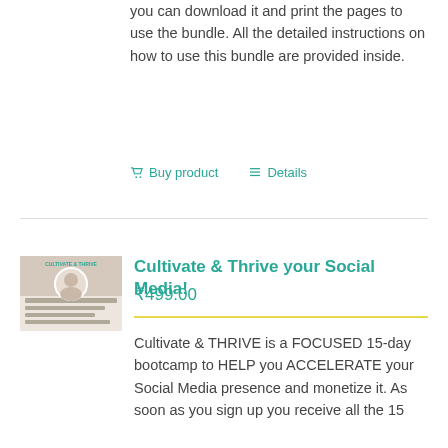you can download it and print the pages to use the bundle. All the detailed instructions on how to use this bundle are provided inside.
🛒 Buy product  ≡ Details
Cultivate & Thrive your Social Media!
₹499.00
[Figure (photo): Product cover image for Cultivate & Thrive bundle showing a woman with a circular photo frame and text about social media and monetization]
Cultivate & THRIVE is a FOCUSED 15-day bootcamp to HELP you ACCELERATE your Social Media presence and monetize it. As soon as you sign up you receive all the 15 days and with this bootcamp you will